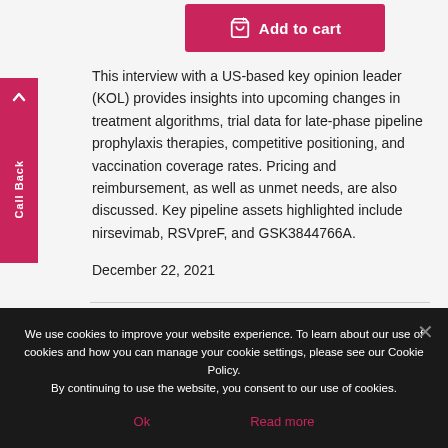[Figure (other): Pink 'Add to cart' button with shopping cart icon]
This interview with a US-based key opinion leader (KOL) provides insights into upcoming changes in treatment algorithms, trial data for late-phase pipeline prophylaxis therapies, competitive positioning, and vaccination coverage rates. Pricing and reimbursement, as well as unmet needs, are also discussed. Key pipeline assets highlighted include nirsevimab, RSVpreF, and GSK3844766A.
December 22, 2021
We use cookies to improve your website experience. To learn about our use of cookies and how you can manage your cookie settings, please see our Cookie Policy.
By continuing to use the website, you consent to our use of cookies.
Ok
Read more